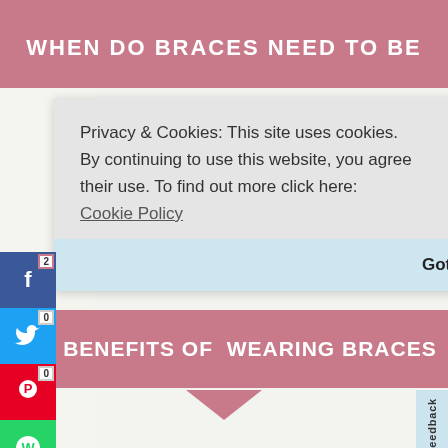[Figure (screenshot): Cookie consent popup overlay on a dental/braces infographic webpage. Shows privacy and cookies notice with 'Got it!' button. Social sharing sidebar buttons (Facebook count 2, Twitter count 0, Pinterest count 0, WhatsApp, Email) are visible on the left. Behind the overlay: partial pink banner with white text about braces, a jaw misalignment diagram, 'WHEN UPPER AND LOWER JAWS OR TEETH ARE MISALIGNED' caption, and a 'THE BENEFITS OF WEARING BRACES' pink section banner with downward arrow.]
Privacy & Cookies: This site uses cookies. By continuing to use this website, you agree their use. To find out more click here: Cookie Policy
Got it!
WHEN UPPER AND LOWER JAWS OR TEETH ARE MISALIGNED
THE BENEFITS OF WEARING BRACES
Feedback